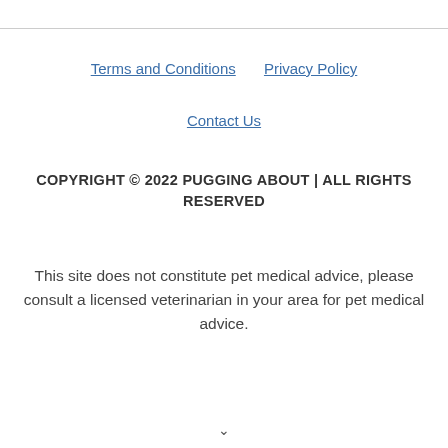Terms and Conditions   Privacy Policy   Contact Us
COPYRIGHT © 2022 PUGGING ABOUT | ALL RIGHTS RESERVED
This site does not constitute pet medical advice, please consult a licensed veterinarian in your area for pet medical advice.